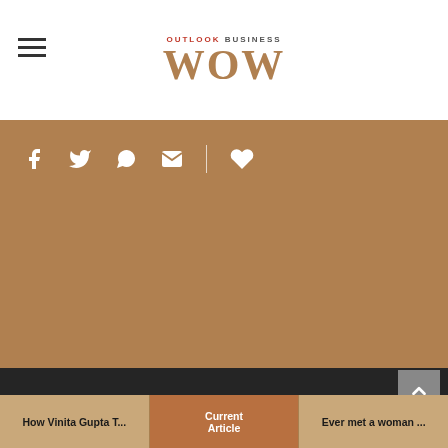[Figure (logo): Outlook Business WOW logo - 'OUTLOOK BUSINESS' text in small caps above 'WOW' in large serif letters in brown/tan color]
[Figure (infographic): Social sharing icon row: Facebook, Twitter, WhatsApp, Email icons in white on tan background, followed by vertical divider and heart/like icon]
WOW NEWSLETTER
Get WOW Updates delivered to your inbox
How Vinita Gupta T...
Current Article
Ever met a woman ...